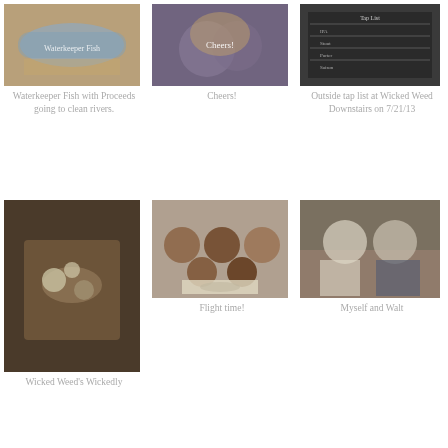[Figure (photo): Waterkeeper Fish sign on a wooden surface]
Waterkeeper Fish with Proceeds going to clean rivers.
[Figure (photo): People at a brewery, cheers with drinks]
Cheers!
[Figure (photo): Chalkboard tap list at Wicked Weed Downstairs]
Outside tap list at Wicked Weed Downstairs on 7/21/13
[Figure (photo): Food platter at Wicked Weed brewery]
Wicked Weed's Wickedly
[Figure (photo): Beer flight with tasting menu card]
Flight time!
[Figure (photo): Two people posing at brewery]
Myself and Walt